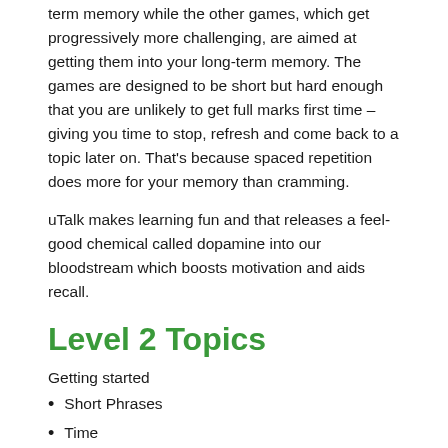term memory while the other games, which get progressively more challenging, are aimed at getting them into your long-term memory. The games are designed to be short but hard enough that you are unlikely to get full marks first time – giving you time to stop, refresh and come back to a topic later on. That's because spaced repetition does more for your memory than cramming.
uTalk makes learning fun and that releases a feel-good chemical called dopamine into our bloodstream which boosts motivation and aids recall.
Level 2 Topics
Getting started
Short Phrases
Time
Restaurant
Travel and Places
Emergencies
Prepositions